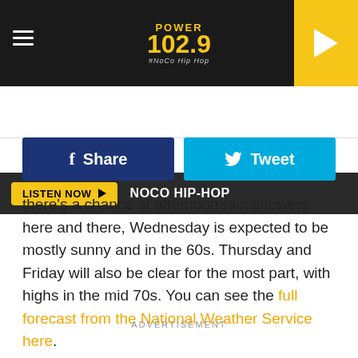[Figure (logo): Power 102.9 NoCo Hip Hop radio station header with hamburger menu, logo, and play button]
LISTEN NOW ▶  NOCO HIP-HOP
[Figure (infographic): Facebook Share button and Twitter Tweet button]
there's a chance of afternoon rain showers here and there, Wednesday is expected to be mostly sunny and in the 60s. Thursday and Friday will also be clear for the most part, with highs in the mid 70s. You can see the full forecast from the National Weather Service here.
ADVERTISEMENT